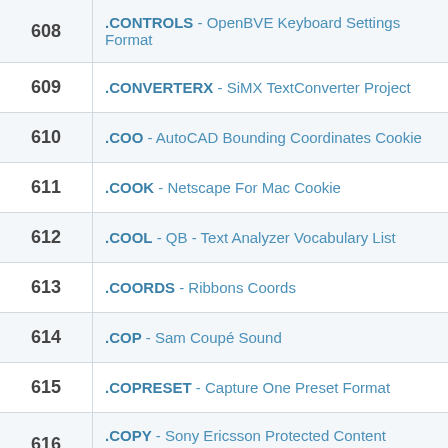| # | Extension |
| --- | --- |
| 608 | .CONTROLS - OpenBVE Keyboard Settings Format |
| 609 | .CONVERTERX - SiMX TextConverter Project |
| 610 | .COO - AutoCAD Bounding Coordinates Cookie |
| 611 | .COOK - Netscape For Mac Cookie |
| 612 | .COOL - QB - Text Analyzer Vocabulary List |
| 613 | .COORDS - Ribbons Coords |
| 614 | .COP - Sam Coupé Sound |
| 615 | .COPRESET - Capture One Preset Format |
| 616 | .COPY - Sony Ericsson Protected Content Format |
| 617 | .COR - CorelDRAW Format |
| 618 | .COS - Creatures Source Code Format |